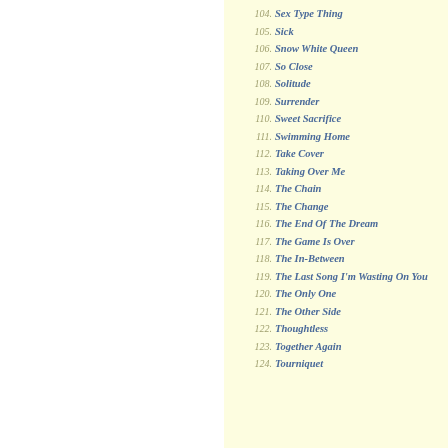104. Sex Type Thing
105. Sick
106. Snow White Queen
107. So Close
108. Solitude
109. Surrender
110. Sweet Sacrifice
111. Swimming Home
112. Take Cover
113. Taking Over Me
114. The Chain
115. The Change
116. The End Of The Dream
117. The Game Is Over
118. The In-Between
119. The Last Song I'm Wasting On You
120. The Only One
121. The Other Side
122. Thoughtless
123. Together Again
124. Tourniquet